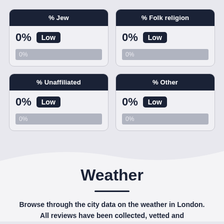[Figure (infographic): Four stat cards in a 2x2 grid showing religion demographics. Each card has a dark navy header with label, a value of 0% with a 'Low' badge, and a grey progress bar at 0%. Cards: % Jew, % Folk religion, % Unaffiliated, % Other.]
Weather
Browse through the city data on the weather in London. All reviews have been collected, vetted and